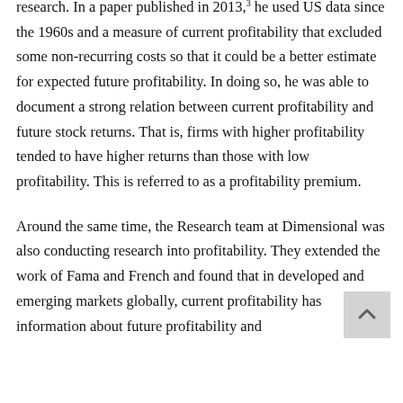research. In a paper published in 2013,³ he used US data since the 1960s and a measure of current profitability that excluded some non-recurring costs so that it could be a better estimate for expected future profitability. In doing so, he was able to document a strong relation between current profitability and future stock returns. That is, firms with higher profitability tended to have higher returns than those with low profitability. This is referred to as a profitability premium.
Around the same time, the Research team at Dimensional was also conducting research into profitability. They extended the work of Fama and French and found that in developed and emerging markets globally, current profitability has information about future profitability and